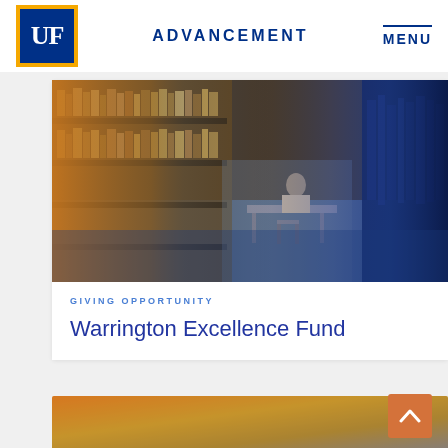UF ADVANCEMENT MENU
[Figure (photo): Library scene with bookshelves on left lit in warm orange tones, student studying at a table in the center-background, right side of image in blue tones showing more shelving]
GIVING OPPORTUNITY
Warrington Excellence Fund
[Figure (photo): Partial view of a second card with warm orange/golden gradient image, partially visible at bottom of page]